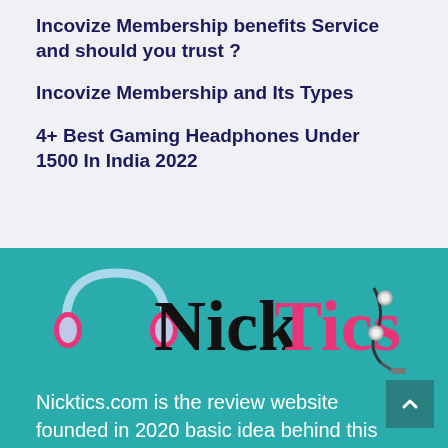Incovize Membership benefits Service and should you trust ?
Incovize Membership and Its Types
4+ Best Gaming Headphones Under 1500 In India 2022
[Figure (logo): NickTics logo — headphones icon on the left, stylized text 'Nick' in black serif and 'Tics' in pink/magenta serif, with earbuds on the right, on a teal background]
Nicktics.com is the review website founded in 2020 basic idea behind this website is helping